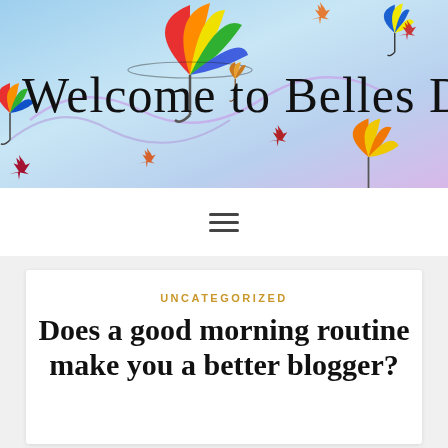[Figure (illustration): Colorful blog header banner with illustrated umbrella decorations, autumn leaves, and swirling lines on a gradient blue-purple background. Titled 'Welcome to Belles Days' in a large cursive/script font.]
Welcome to Belles Days
[Figure (other): Hamburger menu icon (three horizontal lines) centered in a white navigation bar]
UNCATEGORIZED
Does a good morning routine make you a better blogger?